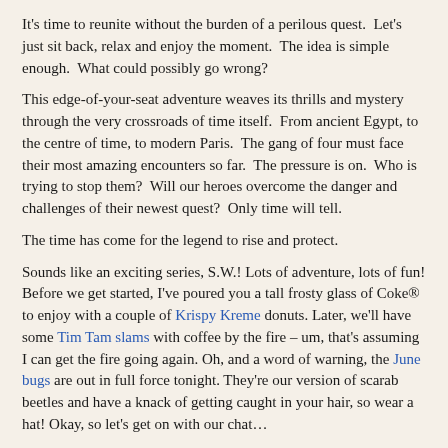It's time to reunite without the burden of a perilous quest.  Let's just sit back, relax and enjoy the moment.  The idea is simple enough.  What could possibly go wrong?
This edge-of-your-seat adventure weaves its thrills and mystery through the very crossroads of time itself.  From ancient Egypt, to the centre of time, to modern Paris.  The gang of four must face their most amazing encounters so far.  The pressure is on.  Who is trying to stop them?  Will our heroes overcome the danger and challenges of their newest quest?  Only time will tell.
The time has come for the legend to rise and protect.
Sounds like an exciting series, S.W.! Lots of adventure, lots of fun! Before we get started, I've poured you a tall frosty glass of Coke® to enjoy with a couple of Krispy Kreme donuts. Later, we'll have some Tim Tam slams with coffee by the fire – um, that's assuming I can get the fire going again. Oh, and a word of warning, the June bugs are out in full force tonight. They're our version of scarab beetles and have a knack of getting caught in your hair, so wear a hat! Okay, so let's get on with our chat…
Where did you get your idea and inspiration to write The Fallen Pharaoh?